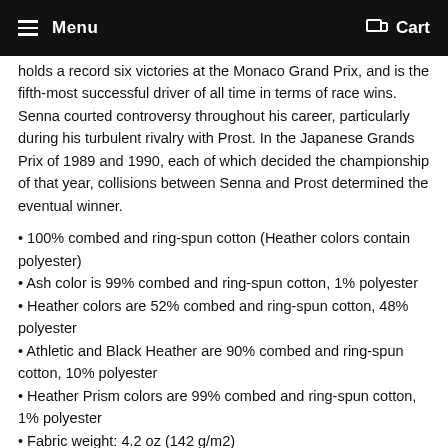Menu  Cart
holds a record six victories at the Monaco Grand Prix, and is the fifth-most successful driver of all time in terms of race wins. Senna courted controversy throughout his career, particularly during his turbulent rivalry with Prost. In the Japanese Grands Prix of 1989 and 1990, each of which decided the championship of that year, collisions between Senna and Prost determined the eventual winner.
• 100% combed and ring-spun cotton (Heather colors contain polyester)
• Ash color is 99% combed and ring-spun cotton, 1% polyester
• Heather colors are 52% combed and ring-spun cotton, 48% polyester
• Athletic and Black Heather are 90% combed and ring-spun cotton, 10% polyester
• Heather Prism colors are 99% combed and ring-spun cotton, 1% polyester
• Fabric weight: 4.2 oz (142 g/m2)
• Pre-shrunk fabric
• Shoulder-to-shoulder taping